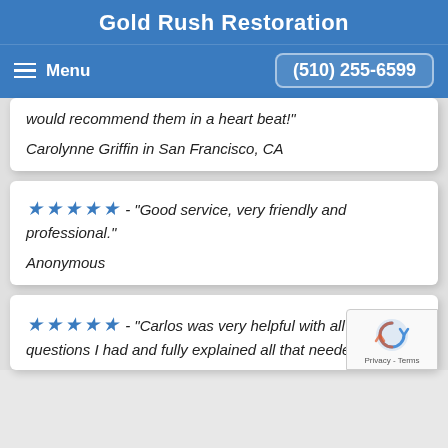Gold Rush Restoration
Menu   (510) 255-6599
would recommend them in a heart beat!"
Carolynne Griffin in San Francisco, CA
★★★★★ - "Good service, very friendly and professional."
Anonymous
★★★★★ - "Carlos was very helpful with all my questions I had and fully explained all that needed to